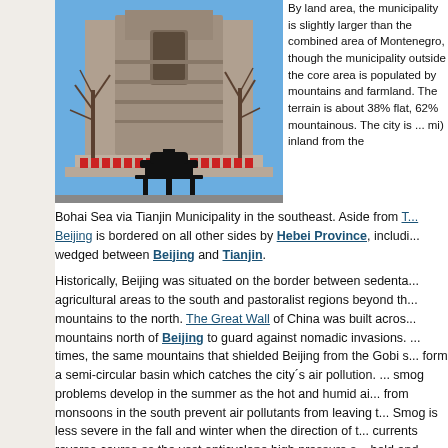[Figure (photo): Photograph of a large stone monument or pagoda structure in Beijing, with bare trees visible on either side. Decorative red banners at the base. A traditional ornate Chinese incense burner or brazier is in the foreground, silhouetted.]
By land area, the municipality is slightly larger than the combined area of Montenegro, though the mu outside the core area is populated by mountains and farmland. The terrain is about 38% flat, 62% mountainous. The city is ... mi) inland from the Bohai Sea via Tianjin Municipality in the southeast. Aside from Tianjin, Beijing is bordered on all other sides by Hebei Province, including ... wedged between Beijing and Tianjin.
Historically, Beijing was situated on the border between sedentary agricultural areas to the south and pastoralist regions beyond the mountains to the north. The Great Wall of China was built across the mountains north of Beijing to guard against nomadic invasions. In modern times, the same mountains that shielded Beijing from the Gobi storms form a semi-circular basin which catches the city's air pollution. The worst smog problems develop in the summer as the hot and humid air masses from monsoons in the south prevent air pollutants from leaving the basin. Smog is less severe in the fall and winter when the direction of the air currents reverse course as the vast anticyclone high pressure system takes hold and brings cold, dry air from Siberia. In the spring, the north winds pick up dust from desertifying areas of Northwest China and ...